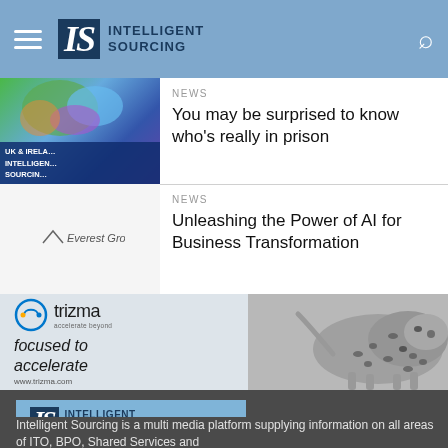[Figure (logo): Intelligent Sourcing website header with hamburger menu, IS logo, and search icon on blue background]
NEWS
You may be surprised to know who's really in prison
[Figure (illustration): UK & Ireland Intelligent Sourcing colorful map thumbnail]
NEWS
Unleashing the Power of AI for Business Transformation
[Figure (illustration): Everest Group logo thumbnail]
[Figure (illustration): Trizma advertisement banner with leopard image: focused to accelerate, www.trizma.com]
[Figure (logo): Intelligent Sourcing footer logo on blue background]
Intelligent Sourcing is a multi media platform supplying information on all areas of ITO, BPO, Shared Services and